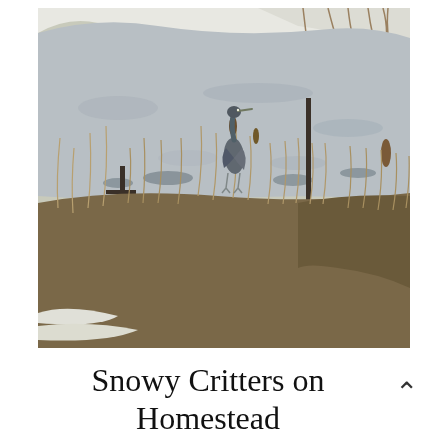[Figure (photo): A great blue heron standing on ice at a frozen pond or wetland in winter. The foreground shows dry brown grasses and fence posts. The background has snow-covered banks and bare dry vegetation. The scene is in muted gray and brown tones.]
Snowy Critters on Homestead